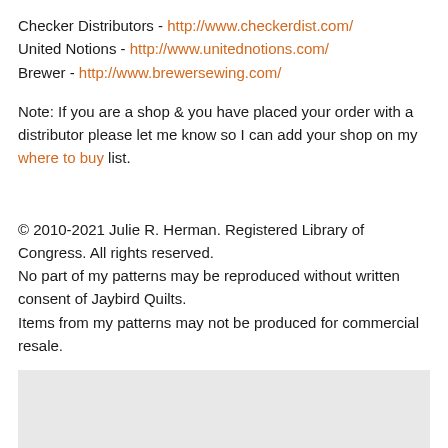Checker Distributors - http://www.checkerdist.com/
United Notions - http://www.unitednotions.com/
Brewer - http://www.brewersewing.com/
Note: If you are a shop & you have placed your order with a distributor please let me know so I can add your shop on my where to buy list.
© 2010-2021 Julie R. Herman. Registered Library of Congress. All rights reserved.
No part of my patterns may be reproduced without written consent of Jaybird Quilts.
Items from my patterns may not be produced for commercial resale.